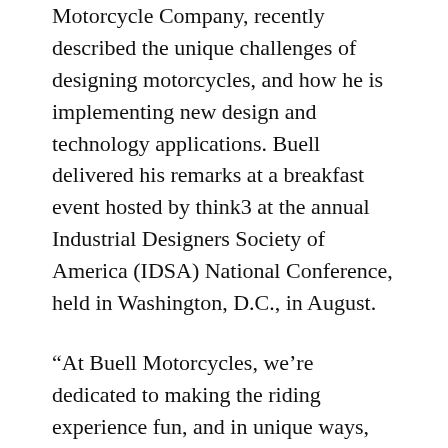Motorcycle Company, recently described the unique challenges of designing motorcycles, and how he is implementing new design and technology applications. Buell delivered his remarks at a breakfast event hosted by think3 at the annual Industrial Designers Society of America (IDSA) National Conference, held in Washington, D.C., in August.
“At Buell Motorcycles, we’re dedicated to making the riding experience fun, and in unique ways, too,” said Buell. “We have dedicated teams focused on every component of what we refer to as ‘customer-driven design.’ We get into the customer’s head and focus on intangibles to ensure the customer/product identification early on in the